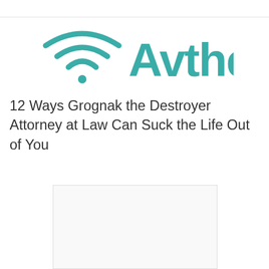[Figure (logo): Avthe logo with wifi signal icon in teal/green color and the text 'Avthe' in teal]
12 Ways Grognak the Destroyer Attorney at Law Can Suck the Life Out of You
[Figure (photo): White/blank placeholder image rectangle]